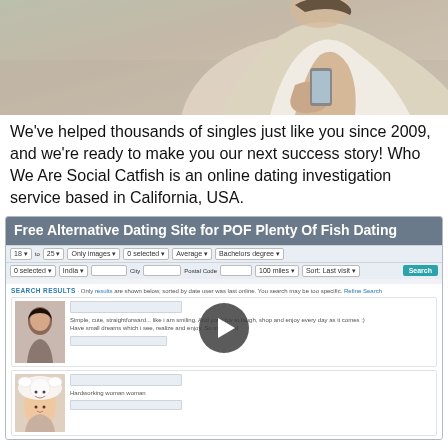[Figure (photo): Photo of a woman holding a smartphone, blurred background]
We've helped thousands of singles just like you since 2009, and we're ready to make you our next success story! Who We Are Social Catfish is an online dating investigation service based in California, USA.
[Figure (screenshot): Screenshot of Free Alternative Dating Site for POF Plenty Of Fish Dating website with search filters and results showing user profiles. A video play button overlay is visible.]
In other words, online dating is a lot of work